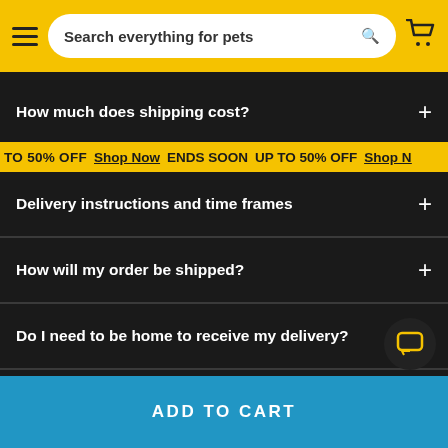Search everything for pets
How much does shipping cost?
UP TO 50% OFF  Shop Now  ENDS SOON  UP TO 50% OFF  Shop Now
Delivery instructions and time frames
How will my order be shipped?
Do I need to be home to receive my delivery?
How long will it take for my order to arrive?
ADD TO CART